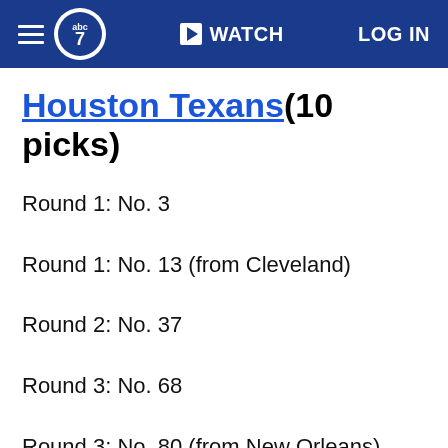abc7 | WATCH | LOG IN
Houston Texans(10 picks)
Round 1: No. 3
Round 1: No. 13 (from Cleveland)
Round 2: No. 37
Round 3: No. 68
Round 3: No. 80 (from New Orleans)
Round 4: No. 107 (from Detroit through Cleveland)
Round 4: No. 108